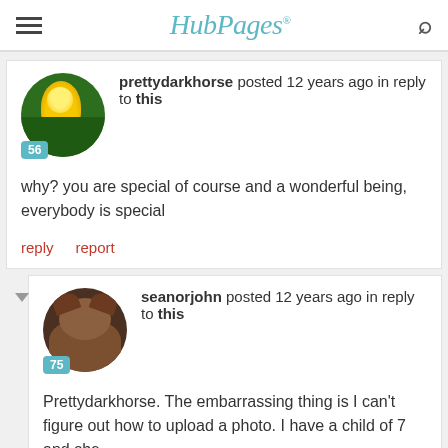HubPages
prettydarkhorse posted 12 years ago in reply to this
why? you are special of course and a wonderful being, everybody is special
reply   report
seanorjohn posted 12 years ago in reply to this
Prettydarkhorse. The embarrassing thing is I can't figure out how to upload a photo. I have a child of 7 and she...